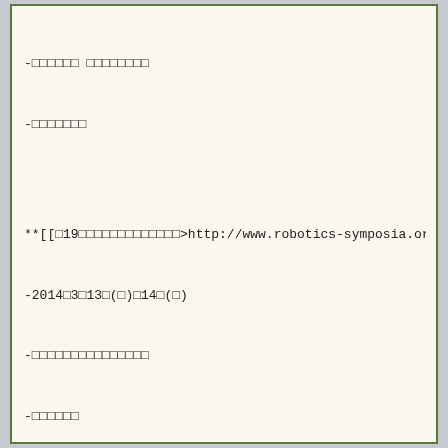-□□□□□□ □□□□□□□□
-□□□□□□□
**[[□19□□□□□□□□□□□□□>http://www.robotics-symposia.org/19th/]] [a
-2014□3□13□(□)□14□(□)
-□□□□□□□□□□□□□□□
-□□□□□□
**□□□□□ [#we4b874a]
-2014□3□5□(□) □□□□□□□
--□□□□□□□□□□□
-2014□2□20□(□) □□□□
-2014□2□12□(□) □□□□
-2014□2□7□(□) □□□□
-2014□1□31□(□) □□□□
-2013□9□27□(□) □□□□□□□
--□□□□□□□□□□□
&aname(visitors2013nendo);
**□□□□□□ [#sce2e201]
-- 3□14□(□) [[□□□□□□□□□□>http://www.iwaselab.amech.waseda.ac
-- 2□27□(□) [[LAAS>http://www.laas.fr/]]□[[Jean-Paul Laumon
--11□18□(□) □□□□□□□□□□□□□□□□□□□□□□□
--11□10□(□) [[□□□□□□□□□□>http://www.tuat.ac.jp/~kagiten/laborat